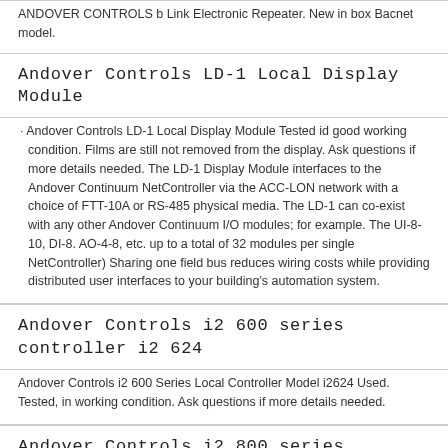ANDOVER CONTROLS b Link Electronic Repeater. New in box Bacnet model.
Andover Controls LD-1 Local Display Module
Andover Controls LD-1 Local Display Module Tested id good working condition. Films are still not removed from the display. Ask questions if more details needed. The LD-1 Display Module interfaces to the Andover Continuum NetController via the ACC-LON network with a choice of FTT-10A or RS-485 physical media. The LD-1 can co-exist with any other Andover Continuum I/O modules; for example. The UI-8-10, DI-8. AO-4-8, etc. up to a total of 32 modules per single NetController) Sharing one field bus reduces wiring costs while providing distributed user interfaces to your building's automation system.
Andover Controls i2 600 series controller i2 624
Andover Controls i2 600 Series Local Controller Model i2624 Used. Tested, in working condition. Ask questions if more details needed.
Andover Controls i2 800 series controller i2 800
Andover Continuum i2 800 series controller Model i2 800 Used. Tested, i n working condition. Ask questions if more details needed.
dühen RcmdId ViewItemDescV4 RlogId